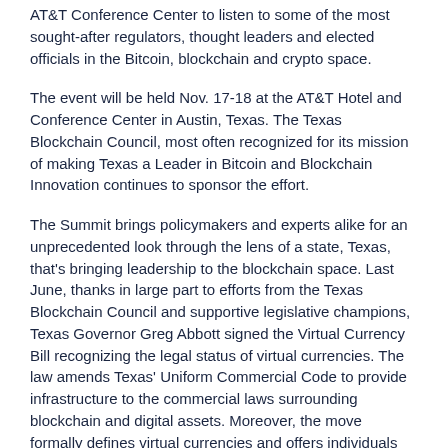AT&T Conference Center to listen to some of the most sought-after regulators, thought leaders and elected officials in the Bitcoin, blockchain and crypto space.
The event will be held Nov. 17-18 at the AT&T Hotel and Conference Center in Austin, Texas. The Texas Blockchain Council, most often recognized for its mission of making Texas a Leader in Bitcoin and Blockchain Innovation continues to sponsor the effort.
The Summit brings policymakers and experts alike for an unprecedented look through the lens of a state, Texas, that's bringing leadership to the blockchain space. Last June, thanks in large part to efforts from the Texas Blockchain Council and supportive legislative champions, Texas Governor Greg Abbott signed the Virtual Currency Bill recognizing the legal status of virtual currencies. The law amends Texas' Uniform Commercial Code to provide infrastructure to the commercial laws surrounding blockchain and digital assets. Moreover, the move formally defines virtual currencies and offers individuals and businesses a legal framework for crypto investment and custody.